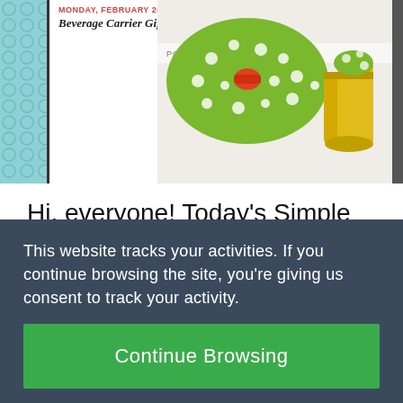[Figure (screenshot): Screenshot of a blog post showing 'MONDAY, FEBRUARY 28, 2011' in red, title 'Beverage Carrier Gift Tote' in italic, with a teal geometric pattern on the left side and a photo of green polka-dot ribbon gift carrier with yellow tins on the right.]
Hi, everyone! Today's Simple Solution is actually in response to the requests I've received from a few lovely ladies for a how-to for how to create a welcome box like the one above my posts section. It
This website tracks your activities. If you continue browsing the site, you're giving us consent to track your activity.
Continue Browsing